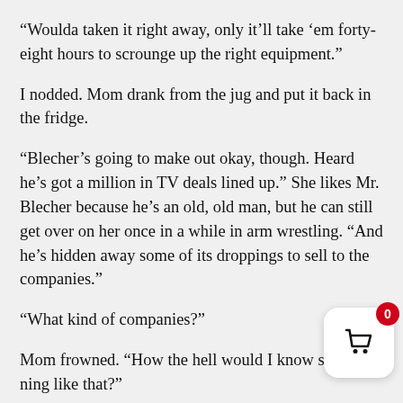“Woulda taken it right away, only it’ll take ‘em forty-eight hours to scrounge up the right equipment.”
I nodded. Mom drank from the jug and put it back in the fridge.
“Blecher’s going to make out okay, though. Heard he’s got a million in TV deals lined up.” She likes Mr. Blecher because he’s an old, old man, but he can still get over on her once in a while in arm wrestling. “And he’s hidden away some of its droppings to sell to the companies.”
“What kind of companies?”
Mom frowned. “How the hell would I know something like that?”
I wondered what they would do with dinosaur poop. Could you clone something from its poop? Could